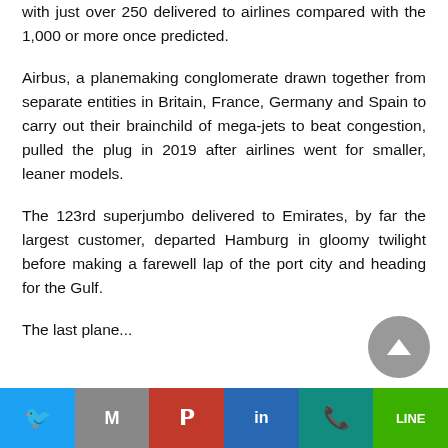with just over 250 delivered to airlines compared with the 1,000 or more once predicted.
Airbus, a planemaking conglomerate drawn together from separate entities in Britain, France, Germany and Spain to carry out their brainchild of mega-jets to beat congestion, pulled the plug in 2019 after airlines went for smaller, leaner models.
The 123rd superjumbo delivered to Emirates, by far the largest customer, departed Hamburg in gloomy twilight before making a farewell lap of the port city and heading for the Gulf.
The last plane...